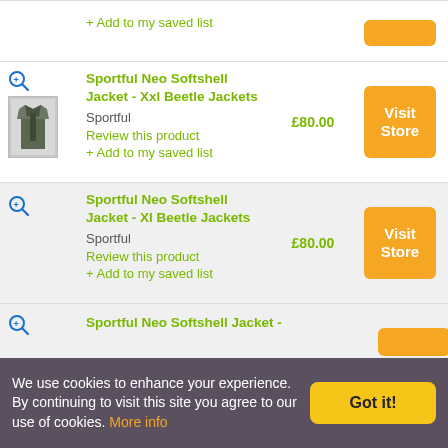+ Add to my saved list
Sportful Neo Softshell Jacket - Xxl Beetle Jackets
Sportful
Review this product
+ Add to my saved list
£80.00
Sportful Neo Softshell Jacket - Xl Beetle Jackets
Sportful
Review this product
+ Add to my saved list
£80.00
Sportful Neo Softshell Jacket -
We use cookies to enhance your experience. By continuing to visit this site you agree to our use of cookies. More info